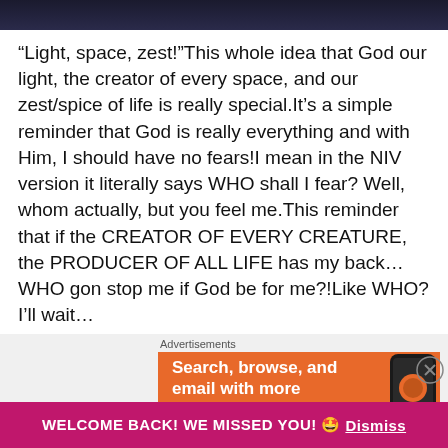[Figure (screenshot): Dark banner image at top of page]
“Light, space, zest!”This whole idea that God our light, the creator of every space, and our zest/spice of life is really special.It’s a simple reminder that God is really everything and with Him, I should have no fears!I mean in the NIV version it literally says WHO shall I fear? Well, whom actually, but you feel me.This reminder that if the CREATOR OF EVERY CREATURE, the PRODUCER OF ALL LIFE has my back… WHO gon stop me if God be for me?!Like WHO? I’ll wait…
Advertisements
[Figure (screenshot): Advertisement banner: DuckDuckGo - Search, browse, and email with more privacy. Shows a phone graphic on orange background.]
WELCOME BACK! WE MISSED YOU! 🤩 Dismiss